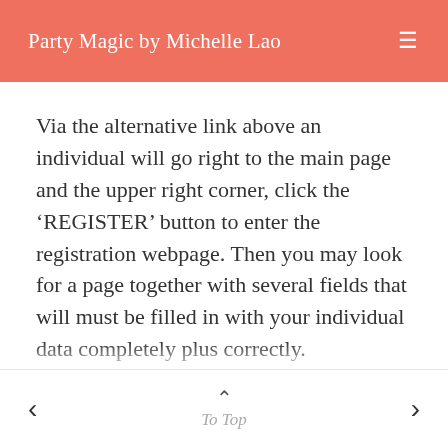Party Magic by Michelle Lao
Via the alternative link above an individual will go right to the main page and the upper right corner, click the ‘REGISTER’ button to enter the registration webpage. Then you may look for a page together with several fields that will must be filled in with your individual data completely plus correctly.
After producing sure that all fields are filled in
To Top